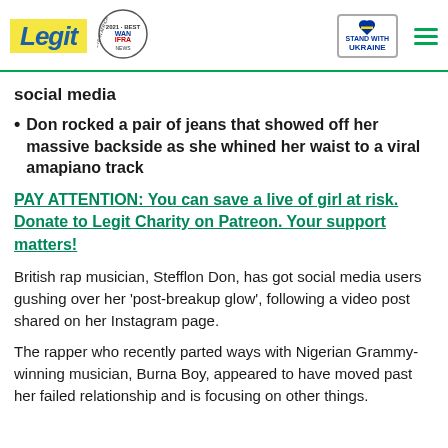Legit | WAN IFRA 2021 Best News Website in Africa | Stand with Ukraine
social media
Don rocked a pair of jeans that showed off her massive backside as she whined her waist to a viral amapiano track
PAY ATTENTION: You can save a live of girl at risk. Donate to Legit Charity on Patreon. Your support matters!
British rap musician, Stefflon Don, has got social media users gushing over her 'post-breakup glow', following a video post shared on her Instagram page.
The rapper who recently parted ways with Nigerian Grammy-winning musician, Burna Boy, appeared to have moved past her failed relationship and is focusing on other things.